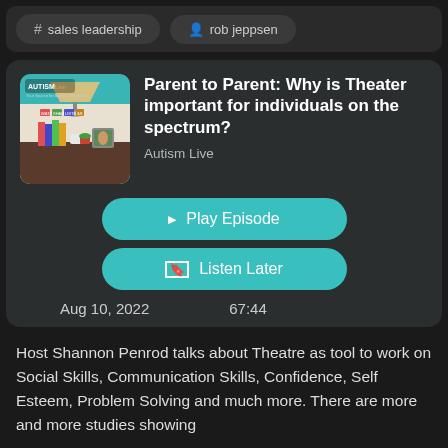# sales leadership
rob jeppsen
Parent to Parent: Why is Theater important for individuals on the spectrum?
Autism Live
Play Episode
Listen Later
Aug 10, 2022    67:44
Host Shannon Penrod talks about Theatre as tool to work on Social Skills, Communication Skills, Confidence, Self Esteem, Problem Solving and much more. There are more and more studies showing